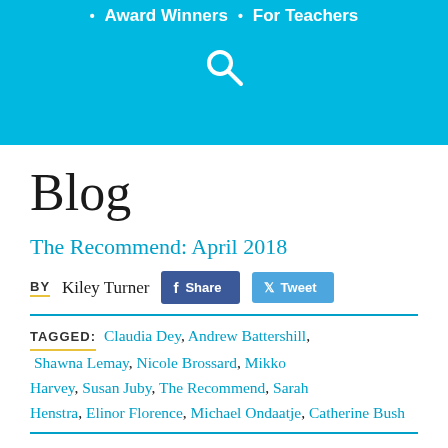Award Winners • For Teachers
Blog
The Recommend: April 2018
BY Kiley Turner
TAGGED: Claudia Dey, Andrew Battershill, Shawna Lemay, Nicole Brossard, Mikko Harvey, Susan Juby, The Recommend, Sarah Henstra, Elinor Florence, Michael Ondaatje, Catherine Bush
Research shows that most of the books we read are the result of one thing: someone we